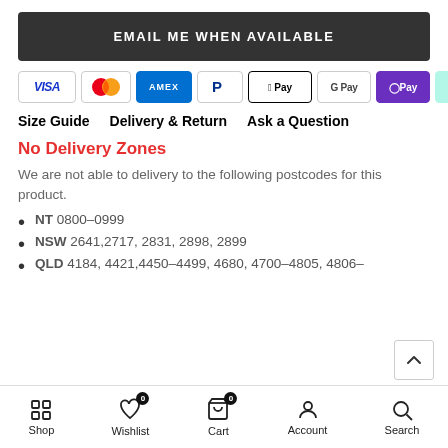EMAIL ME WHEN AVAILABLE
[Figure (other): Payment method badges: VISA, Mastercard, AMEX, PayPal, Apple Pay, Google Pay, OPay, Afterpay, Zip]
Size Guide   Delivery & Return   Ask a Question
No Delivery Zones
We are not able to delivery to the following postcodes for this product.
NT 0800-0999
NSW 2641,2717, 2831, 2898, 2899
QLD 4184, 4421,4450-4499, 4680, 4700-4805, 4806-
Shop   Wishlist (0)   Cart (0)   Account   Search